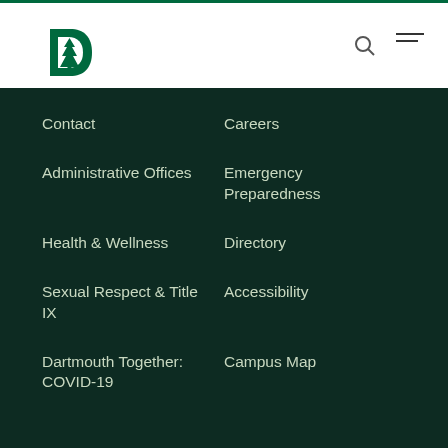[Figure (logo): Dartmouth College logo - green D with pine tree]
Contact
Careers
Administrative Offices
Emergency Preparedness
Health & Wellness
Directory
Sexual Respect & Title IX
Accessibility
Dartmouth Together: COVID-19
Campus Map